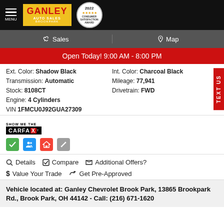GANLEY AUTO SALES BROOKPARK — 2022 Consumer Satisfaction Award
Sales  Map
Open Today! 9:00 AM - 8:00 PM
| Ext. Color: | Shadow Black | Int. Color: | Charcoal Black |
| Transmission: | Automatic | Mileage: | 77,941 |
| Stock: | 8108CT | Drivetrain: | FWD |
| Engine: | 4 Cylinders |  |  |
| VIN | 1FMCU0J92GUA27309 |  |  |
[Figure (logo): SHOW ME THE CARFAX logo with CARFAX branding and colored icons below (green checkmark, blue people, house, wrench)]
Details  Compare  Additional Offers?
Value Your Trade  Get Pre-Approved
Vehicle located at: Ganley Chevrolet Brook Park, 13865 Brookpark Rd., Brook Park, OH 44142 - Call: (216) 671-1620